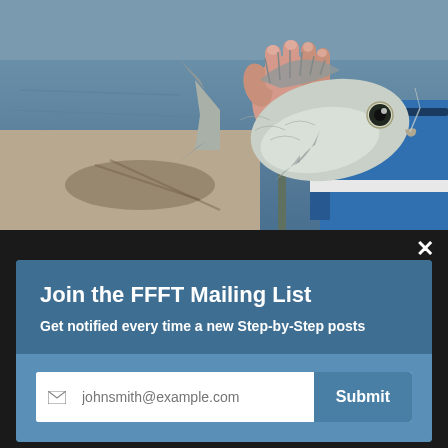[Figure (photo): A hand holding a small silver fish (pompano or similar species) against a background of water and a blue boat.]
around 10 AM. Lunch was slated for noon, and our water taxi departed at 1 PM. This was my last chance.
×
Join the FFFT Mailing List
Get notified every time a new Step-by-Step posts
johnsmith@example.com  Submit